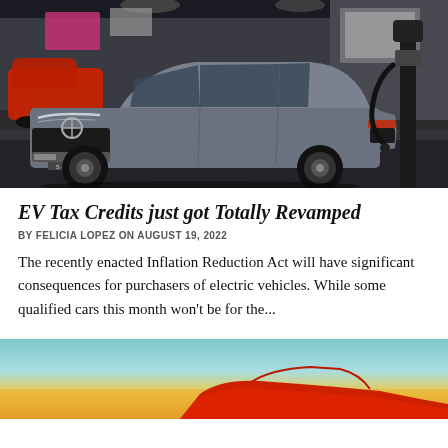[Figure (photo): Gray Volvo S60 electric vehicle at an auto show with a charging station to the right; red car visible in background]
EV Tax Credits just got Totally Revamped
BY FELICIA LOPEZ ON AUGUST 19, 2022
The recently enacted Inflation Reduction Act will have significant consequences for purchasers of electric vehicles. While some qualified cars this month won't be for the...
[Figure (photo): Partial view of a red aircraft or vehicle against a sky with teal and golden/orange gradient background]